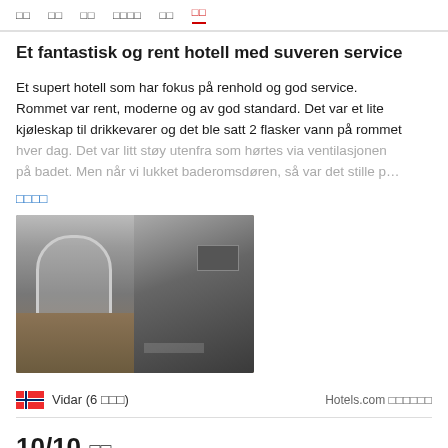□□  □□  □□  □□□□  □□  □□
Et fantastisk og rent hotell med suveren service
Et supert hotell som har fokus på renhold og god service. Rommet var rent, moderne og av god standard. Det var et lite kjøleskap til drikkevarer og det ble satt 2 flasker vann på rommet hver dag. Det var litt støy utenfra som hørtes via ventilasjonen på badet. Men når vi lukket baderomsdøren, så var det stille p…
□□□□
[Figure (photo): Two hotel interior photos side by side: left shows arched stone entrance with steps, right shows dark corridor interior]
Vidar (6 □□□)
Hotels.com □□□□□□
10/10 □□
2022□7□24□
Rob (2 □□□□□□)
Hotels.com □□□□□□